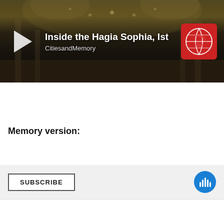[Figure (screenshot): Audio player widget showing 'Inside the Hagia Sophia, Ist' by CitiesandMemory with play button and globe logo, over interior photo of Hagia Sophia]
[Figure (screenshot): Subscribe bar with SUBSCRIBE button on left and blue podcast icon on right]
Memory version:
[Figure (screenshot): Audio player widget showing 'Immersed and Dissolved: S' by CitiesandMemory with play button and globe logo, over photo of indigenous dancers in feathered headdresses at outdoor event]